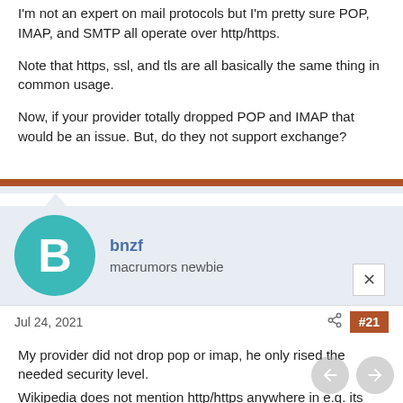I'm not an expert on mail protocols but I'm pretty sure POP, IMAP, and SMTP all operate over http/https.
Note that https, ssl, and tls are all basically the same thing in common usage.
Now, if your provider totally dropped POP and IMAP that would be an issue. But, do they not support exchange?
bnzf
macrumors newbie
Jul 24, 2021
#21
My provider did not drop pop or imap, he only rised the needed security level.
Wikipedia does not mention http/https anywhere in e.g. its imap article.
https, imap .... operate all over TLS. But TLS is not http... th